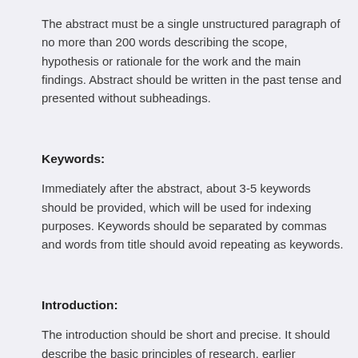The abstract must be a single unstructured paragraph of no more than 200 words describing the scope, hypothesis or rationale for the work and the main findings. Abstract should be written in the past tense and presented without subheadings.
Keywords:
Immediately after the abstract, about 3-5 keywords should be provided, which will be used for indexing purposes. Keywords should be separated by commas and words from title should avoid repeating as keywords.
Introduction:
The introduction should be short and precise. It should describe the basic principles of research, earlier background work and the aim of the present study. The hypothesis to be tested should be specified. Summary of